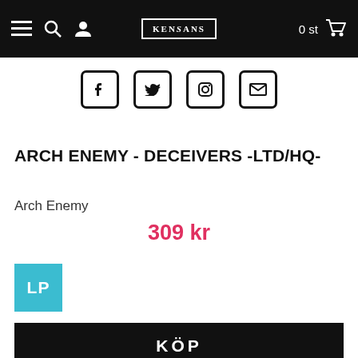KENSANS navigation bar with menu, search, account icons, logo, and cart showing 0 st
[Figure (other): Social media icons row: Facebook, Twitter, Instagram, Email]
ARCH ENEMY - DECEIVERS -LTD/HQ-
Arch Enemy
309 kr
LP
KÖP
Lägg i önskelista